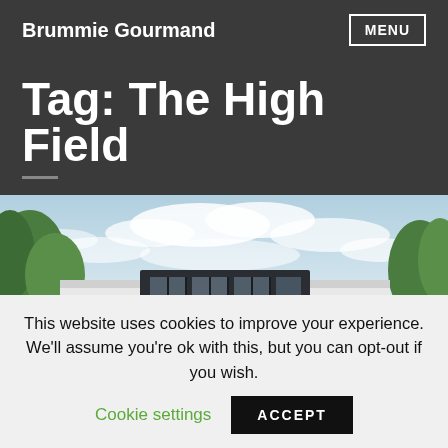Brummie Gourmand
Tag: The High Field
[Figure (photo): Exterior photograph of The High Field building: a modern white structure with large dark-framed windows and a glass facade, set against a partly cloudy blue sky with green trees on either side.]
This website uses cookies to improve your experience. We'll assume you're ok with this, but you can opt-out if you wish. Cookie settings ACCEPT